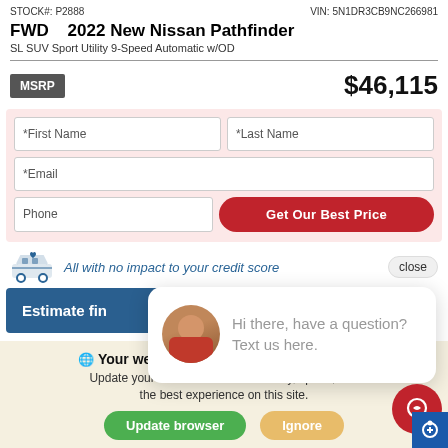STOCK#: P2888     VIN: 5N1DR3CB9NC266981
FWD  2022 New Nissan Pathfinder
SL SUV Sport Utility 9-Speed Automatic w/OD
MSRP   $46,115
[Figure (screenshot): Contact form with fields: First Name, Last Name, Email, Phone, and a Get Our Best Price button on pink background]
All with no impact to your credit score
Estimate fin...
[Figure (photo): Chat bubble popup with avatar of woman and text: Hi there, have a question? Text us here.]
Your web browser (iOS 11) is out of date.
Update your browser for more security, speed, and the best experience on this site.
Update browser   Ignore